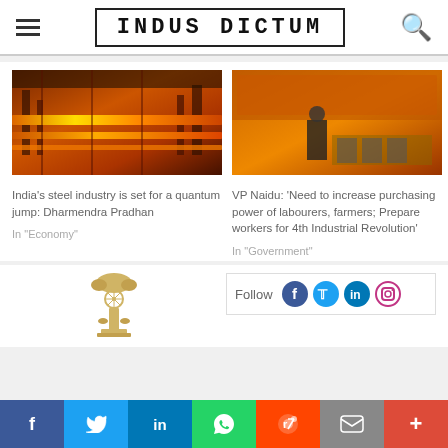INDUS DICTUM
[Figure (photo): Steel mill with glowing hot metal on rolling lines]
India's steel industry is set for a quantum jump: Dharmendra Pradhan
In "Economy"
[Figure (photo): VP Naidu speaking at a podium at an event with Hindi banner backdrop]
VP Naidu: 'Need to increase purchasing power of labourers, farmers; Prepare workers for 4th Industrial Revolution'
In "Government"
[Figure (logo): Government of India emblem / Ashoka Pillars]
Follow